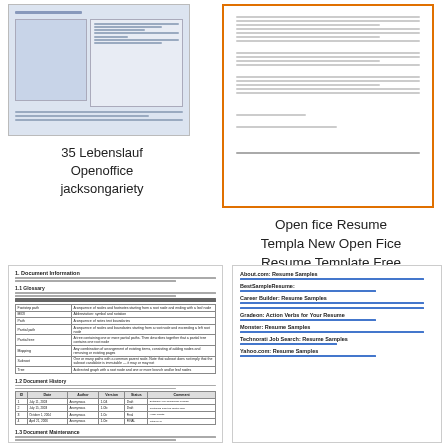[Figure (screenshot): Thumbnail of a resume/CV document in OpenOffice format showing table layout]
35 Lebenslauf Openoffice jacksongariety
[Figure (screenshot): Thumbnail of a letter/document page with orange border]
Open fice Resume Templa New Open Fice Resume Template Free
[Figure (screenshot): Document page showing Document Information section with glossary table and document history table]
[Figure (screenshot): List of resume sample links including About.com, BestSampleResume, Career Builder, Gradeon, Monster, Technorati, Yahoo]